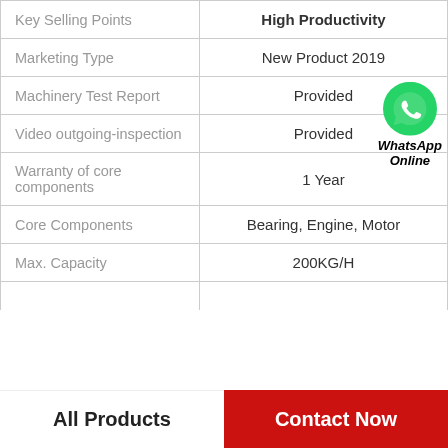|  |  |
| --- | --- |
| Key Selling Points | High Productivity |
| Marketing Type | New Product 2019 |
| Machinery Test Report | Provided |
| Video outgoing-inspection | Provided |
| Warranty of core components | 1 Year |
| Core Components | Bearing, Engine, Motor |
| Max. Capacity | 200KG/H |
[Figure (logo): WhatsApp green circle icon with phone handset in white, with text 'WhatsApp Online' in bold italic black below]
All Products
Contact Now